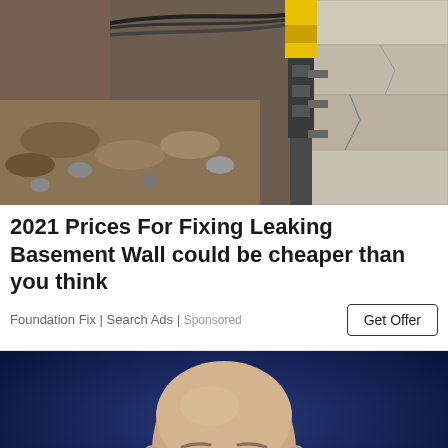[Figure (photo): Construction site photo showing excavated foundation with heavy drilling/hydraulic equipment attached to a concrete wall, cables and machinery visible, dirt and rocks in foreground]
2021 Prices For Fixing Leaking Basement Wall could be cheaper than you think
Foundation Fix | Search Ads | Sponsored
[Figure (photo): Close-up photo of a bald middle-aged man against a dark blue background, looking directly at camera with a serious expression]